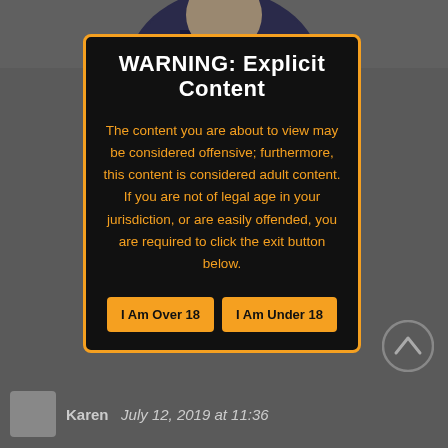[Figure (photo): Partial photo of a person in a dark suit, visible from chest down, arms crossed, serving as background behind the warning overlay.]
WARNING: Explicit Content
The content you are about to view may be considered offensive; furthermore, this content is considered adult content. If you are not of legal age in your jurisdiction, or are easily offended, you are required to click the exit button below.
I Am Over 18  |  I Am Under 18
Karen  July 12, 2019 at 11:36